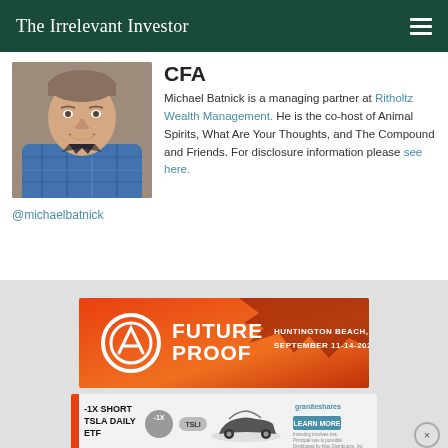The Irrelevant Investor
CFA
[Figure (photo): Headshot photo of Michael Batnick, a smiling man in a blue plaid shirt]
@michaelbatnick
Michael Batnick is a managing partner at Ritholtz Wealth Management. He is the co-host of Animal Spirits, What Are Your Thoughts, and The Compound and Friends. For disclosure information please see here.
[Figure (infographic): Future Proof conference advertisement - orange background with logo, text reading FUTURE PROOF, HUNTINGTON BEACH, CA, SEPTEMBER 11-14-2022]
[Figure (infographic): GraniteShares -1X Short TSLA Daily ETF advertisement with Tesla car image and Learn More button]